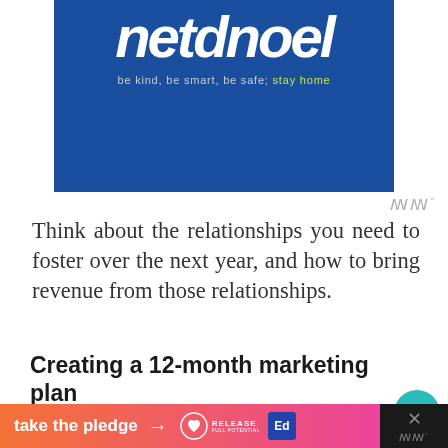[Figure (illustration): Blue banner with stylized white bold italic text reading 'netdnool' or similar stylized word, with subtitle 'be kind, be smart, be safe; stay home' in gray and green text on a dark blue background.]
Think about the relationships you need to foster over the next year, and how to bring revenue from those relationships.
Creating a 12-month marketing plan
A solid marketing plan keeps you in a proactive mode. You'll be ready well in advance for family sessions in the fall,
[Figure (infographic): Bottom orange-to-pink gradient banner with 'take the pledge' text and arrow, Release logo, and educational icon. Right side has black background with close X and watermark logo.]